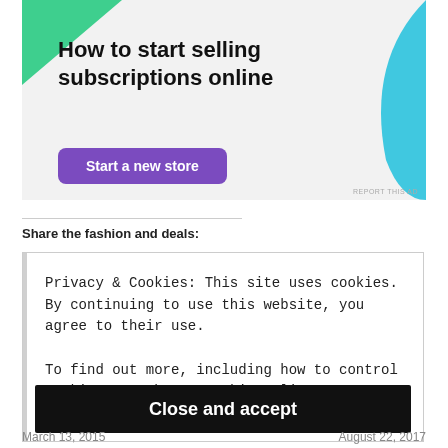[Figure (infographic): Advertisement banner with light gray background, green triangle in top-left corner, cyan/blue shape in top-right corner, bold title 'How to start selling subscriptions online', and a purple button labeled 'Start a new store'. Small 'REPORT THIS AD' text at bottom right.]
Share the fashion and deals:
Privacy & Cookies: This site uses cookies. By continuing to use this website, you agree to their use.
To find out more, including how to control cookies, see here: Cookie Policy
Close and accept
March 13, 2015    August 22, 2017